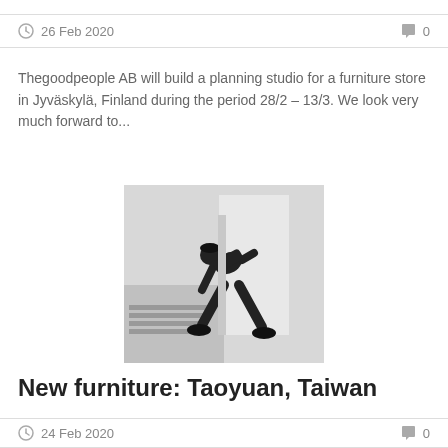26 Feb 2020  0
Thegoodpeople AB will build a planning studio for a furniture store in Jyväskylä, Finland during the period 28/2 – 13/3. We look very much forward to...
[Figure (photo): Black and white photo of a person dressed in black, bent over working near a large flat panel or wall in an interior space.]
New furniture: Taoyuan, Taiwan
24 Feb 2020  0